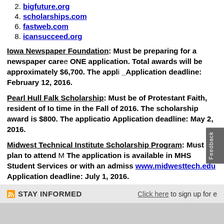1. bigfuture.org
2. scholarships.com
3. fastweb.com
4. icansucceed.org
Iowa Newspaper Foundation: Must be preparing for a newspaper career... ONE application. Total awards will be approximately $6,700. The appli... Application deadline: February 12, 2016.
Pearl Hull Falk Scholarship: Must be of Protestant Faith, resident of Io... time in the Fall of 2016. The scholarship award is $800. The applicatio... Application deadline: May 2, 2016.
Midwest Technical Institute Scholarship Program: Must plan to attend M... The application is available in MHS Student Services or with an admiss... www.midwesttech.edu  Application deadline: July 1, 2016.
STAY INFORMED   Click here to sign up for e...